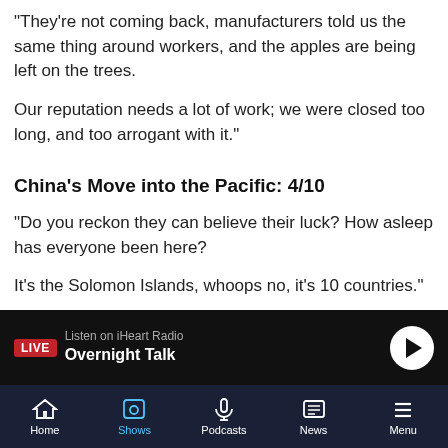"They're not coming back, manufacturers told us the same thing around workers, and the apples are being left on the trees.
Our reputation needs a lot of work; we were closed too long, and too arrogant with it."
China's Move into the Pacific: 4/10
"Do you reckon they can believe their luck? How asleep has everyone been here?
It's the Solomon Islands, whoops no, it's 10 countries."
[Figure (screenshot): Live radio player bar: LIVE badge, Listen on iHeart Radio, Overnight Talk, play button]
[Figure (screenshot): Navigation bar with Home, Shows, Podcasts, News, Menu icons]